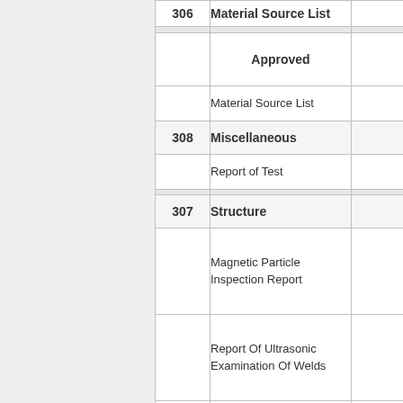| Number | Description |  |
| --- | --- | --- |
| 306 | Material Source List |  |
|  | Approved |  |
|  | Material Source List |  |
| 308 | Miscellaneous |  |
|  | Report of Test |  |
| 307 | Structure |  |
|  | Magnetic Particle Inspection Report |  |
|  | Report Of Ultrasonic Examination Of Welds |  |
|  | Structure Foundation Inspection |  |
|  | Welding Plan |  |